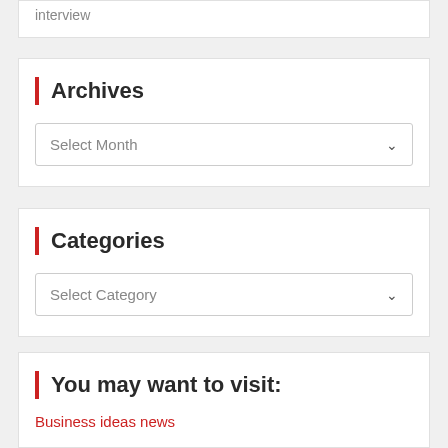interview
Archives
Select Month
Categories
Select Category
You may want to visit:
Business ideas news